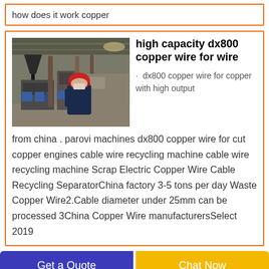how does it work copper
[Figure (photo): Industrial factory floor with machinery and a worker in a red hard hat walking past copper wire recycling equipment]
high capacity dx800 copper wire for wire
· dx800 copper wire for copper with high output
from china . parovi machines dx800 copper wire for cut copper engines cable wire recycling machine cable wire recycling machine Scrap Electric Copper Wire Cable Recycling SeparatorChina factory 3-5 tons per day Waste Copper Wire2.Cable diameter under 25mm can be processed 3China Copper Wire manufacturersSelect 2019
Get a Quote
Chat Now